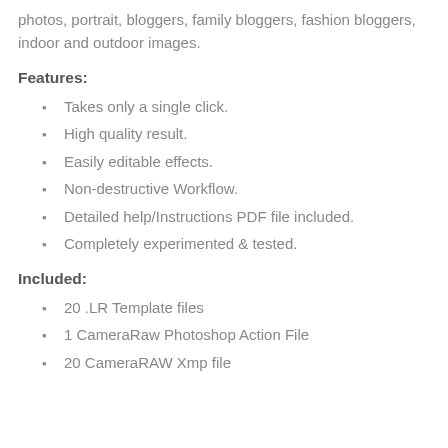photos, portrait, bloggers, family bloggers, fashion bloggers, indoor and outdoor images.
Features:
Takes only a single click.
High quality result.
Easily editable effects.
Non-destructive Workflow.
Detailed help/Instructions PDF file included.
Completely experimented & tested.
Included:
20 .LR Template files
1 CameraRaw Photoshop Action File
20 CameraRAW Xmp file